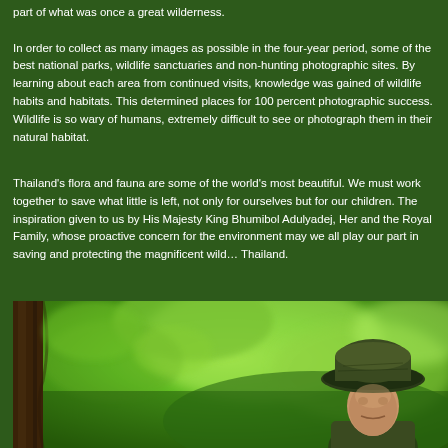part of what was once a great wilderness. In order to collect as many images as possible in the four-year period, some of the best national parks, wildlife sanctuaries and non-hunting photographic sites. By learning about each area from continued visits, knowledge was gained of wildlife habits and habitats. This determined places for 100 percent photographic success. Wildlife is so wary of humans, extremely difficult to see or photograph them in their natural habitat.
Thailand's flora and fauna are some of the world's most beautiful. We must work together to save what little is left, not only for ourselves but for our children. The inspiration given to us by His Majesty King Bhumibol Adulyadej, Her Royal Highness and the Royal Family, whose proactive concern for the environment is an example. May we all play our part in saving and protecting the magnificent wildlife of Thailand.
[Figure (photo): A man wearing a camouflage hat looking upward, surrounded by lush green tropical foliage and a tree trunk on the left side. The background is blurred green vegetation.]